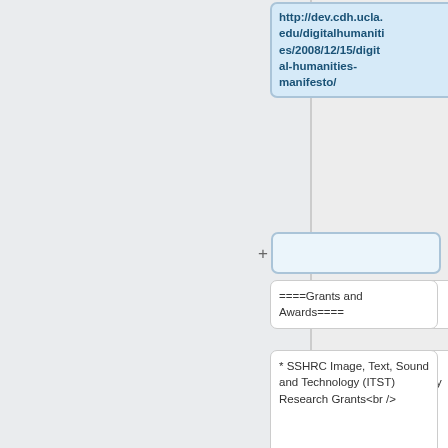http://dev.cdh.ucla.edu/digitalhumanities/2008/12/15/digital-humanities-manifesto/
====Grants and Awards====
====Grants and Awards====
* SSHRC Image, Text, Sound and Technology (ITST) Research Grants<br />
* SSHRC Image, Text, Sound and Technology (ITST) Research Grants<br />
http://www.sshrc.ca/web/apply/program_descriptions/itst/research_e.asp
http://www.sshrc.ca/web/apply/program_descriptions/itst/research_e.asp
* Tuition Scholarships for